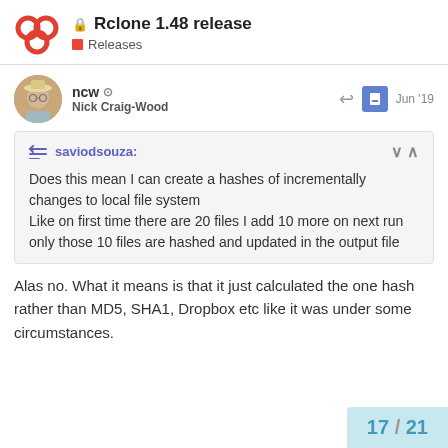Rclone 1.48 release — Releases
ncw Nick Craig-Wood Jun '19
saviodsouza:
Does this mean I can create a hashes of incrementally changes to local file system
Like on first time there are 20 files I add 10 more on next run only those 10 files are hashed and updated in the output file
Alas no. What it means is that it just calculated the one hash rather than MD5, SHA1, Dropbox etc like it was under some circumstances.
17 / 21